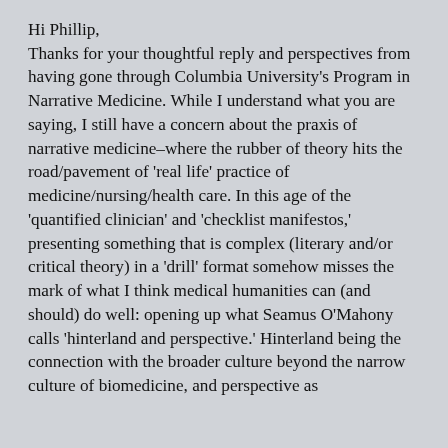Hi Phillip,
Thanks for your thoughtful reply and perspectives from having gone through Columbia University's Program in Narrative Medicine. While I understand what you are saying, I still have a concern about the praxis of narrative medicine–where the rubber of theory hits the road/pavement of 'real life' practice of medicine/nursing/health care. In this age of the 'quantified clinician' and 'checklist manifestos,' presenting something that is complex (literary and/or critical theory) in a 'drill' format somehow misses the mark of what I think medical humanities can (and should) do well: opening up what Seamus O'Mahony calls 'hinterland and perspective.' Hinterland being the connection with the broader culture beyond the narrow culture of biomedicine, and perspective as